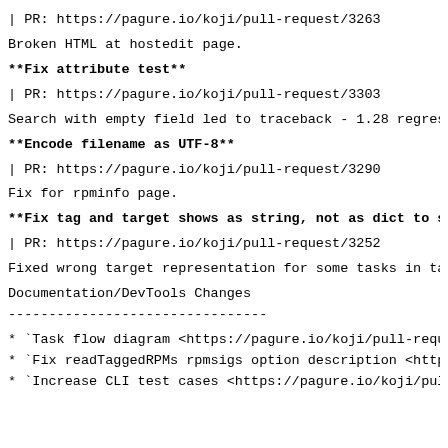| PR: https://pagure.io/koji/pull-request/3263
Broken HTML at hostedit page.
**Fix attribute test**
| PR: https://pagure.io/koji/pull-request/3303
Search with empty field led to traceback - 1.28 regression
**Encode filename as UTF-8**
| PR: https://pagure.io/koji/pull-request/3290
Fix for rpminfo page.
**Fix tag and target shows as string, not as dict to str
| PR: https://pagure.io/koji/pull-request/3252
Fixed wrong target representation for some tasks in tasks
Documentation/DevTools Changes
--------------------------------
* `Task flow diagram <https://pagure.io/koji/pull-reques
* `Fix readTaggedRPMs rpmsigs option description <https
* `Increase CLI test cases <https://pagure.io/koji/pull-